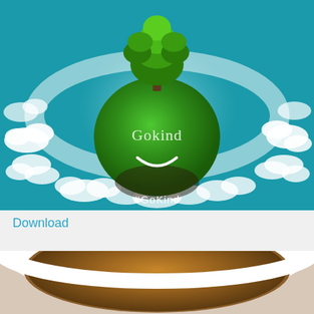[Figure (illustration): A green mossy globe with a large tree growing from the top, clouds swirling around it on a teal background. The globe features the text 'Gokind' with a smiley face drawn on it. At the bottom of the image is the hashtag '#GoKind'.]
Download
[Figure (photo): Close-up photo of a white cup filled with coffee or espresso, viewed from above, showing the creamy brown surface of the drink.]